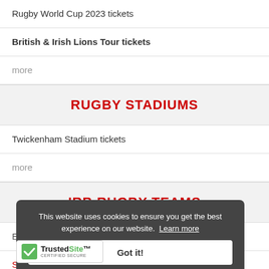Rugby World Cup 2023 tickets
British & Irish Lions Tour tickets
more
RUGBY STADIUMS
Twickenham Stadium tickets
more
IRB RUGBY TEAMS
This website uses cookies to ensure you get the best experience on our website. Learn more
Got it!
[Figure (logo): TrustedSite Certified Secure badge with green checkmark]